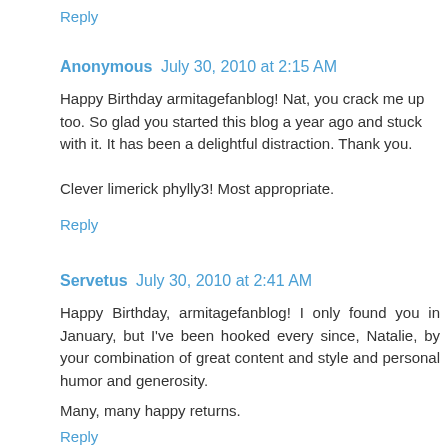Reply
Anonymous  July 30, 2010 at 2:15 AM
Happy Birthday armitagefanblog! Nat, you crack me up too. So glad you started this blog a year ago and stuck with it. It has been a delightful distraction. Thank you.
Clever limerick phylly3! Most appropriate.
Reply
Servetus  July 30, 2010 at 2:41 AM
Happy Birthday, armitagefanblog! I only found you in January, but I've been hooked every since, Natalie, by your combination of great content and style and personal humor and generosity.
Many, many happy returns.
Reply